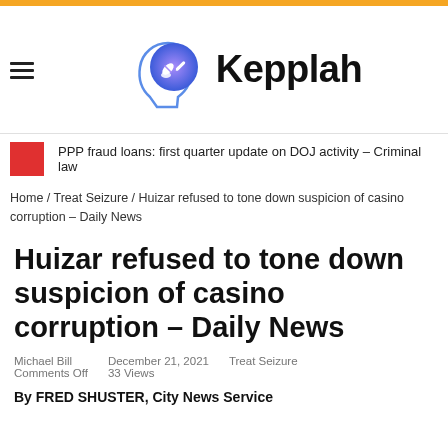[Figure (logo): Kepplah website logo with head silhouette icon and gradient circle containing pills/syringe icons, with bold text 'Kepplah']
PPP fraud loans: first quarter update on DOJ activity – Criminal law
Home / Treat Seizure / Huizar refused to tone down suspicion of casino corruption – Daily News
Huizar refused to tone down suspicion of casino corruption – Daily News
Michael Bill  Comments Off    December 21, 2021  33 Views    Treat Seizure
By FRED SHUSTER, City News Service